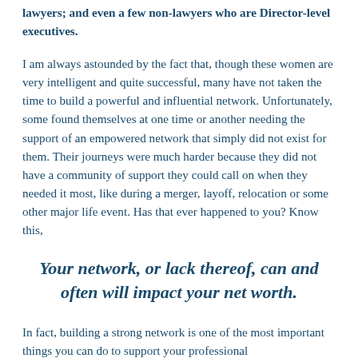lawyers; and even a few non-lawyers who are Director-level executives.
I am always astounded by the fact that, though these women are very intelligent and quite successful, many have not taken the time to build a powerful and influential network. Unfortunately, some found themselves at one time or another needing the support of an empowered network that simply did not exist for them. Their journeys were much harder because they did not have a community of support they could call on when they needed it most, like during a merger, layoff, relocation or some other major life event. Has that ever happened to you? Know this,
Your network, or lack thereof, can and often will impact your net worth.
In fact, building a strong network is one of the most important things you can do to support your professional